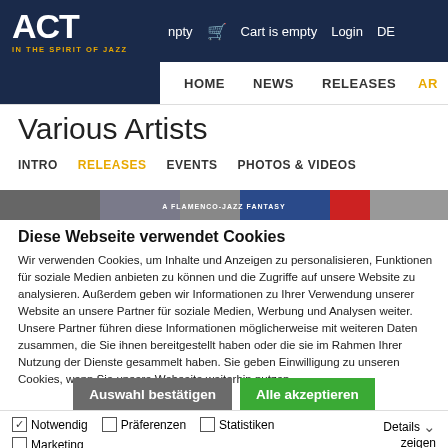ACT - IN THE SPIRIT OF JAZZ | npty | Cart is empty | Login | DE
HOME | NEWS | RELEASES | AR
Various Artists
INTRO | RELEASES | EVENTS | PHOTOS & VIDEOS
[Figure (photo): Image strip showing flamenco-jazz fantasy album artwork]
Diese Webseite verwendet Cookies
Wir verwenden Cookies, um Inhalte und Anzeigen zu personalisieren, Funktionen für soziale Medien anbieten zu können und die Zugriffe auf unsere Website zu analysieren. Außerdem geben wir Informationen zu Ihrer Verwendung unserer Website an unsere Partner für soziale Medien, Werbung und Analysen weiter. Unsere Partner führen diese Informationen möglicherweise mit weiteren Daten zusammen, die Sie ihnen bereitgestellt haben oder die sie im Rahmen Ihrer Nutzung der Dienste gesammelt haben. Sie geben Einwilligung zu unseren Cookies, wenn Sie unsere Webseite weiterhin nutzen.
Auswahl bestätigen | Alle akzeptieren
Notwendig | Präferenzen | Statistiken | Marketing | Details zeigen